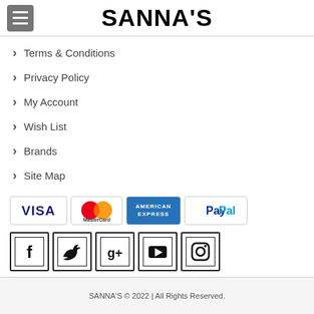SANNA'S
Terms & Conditions
Privacy Policy
My Account
Wish List
Brands
Site Map
[Figure (logo): Payment method logos: VISA, MasterCard, American Express, PayPal]
[Figure (logo): Social media icons: Facebook, Twitter, Google+, YouTube, Instagram]
SANNA'S © 2022 | All Rights Reserved.